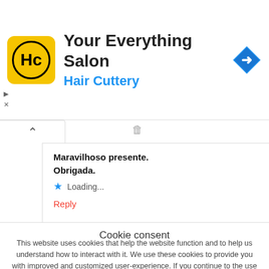[Figure (screenshot): Hair Cuttery ad banner with yellow logo showing HC in circle, title 'Your Everything Salon', subtitle 'Hair Cuttery' in blue, and a blue navigation arrow icon on the right. Small play and X controls on the left.]
Maravilhoso presente.
Obrigada.
★ Loading...
Reply
Cookie consent
This website uses cookies that help the website function and to help us understand how to interact with it. We use these cookies to provide you with improved and customized user-experience. If you continue to the use of the website, we assume that you are okay with it. More
GOT IT